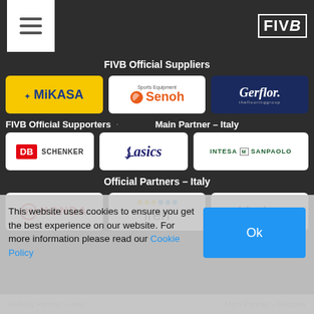FIVB [hamburger menu + logo]
FIVB Official Suppliers
[Figure (logo): Mikasa logo - yellow background with blue text]
[Figure (logo): Senoh Sports Equipment logo]
[Figure (logo): Gerflor theflooringgroup logo - dark blue background]
FIVB Official Supporters
Main Partner – Italy
[Figure (logo): DB Schenker logo]
[Figure (logo): ASICS logo]
[Figure (logo): Intesa Sanpaolo logo]
Official Partners – Italy
[Figure (logo): Honda logo]
[Figure (logo): iren logo with colored dots]
[Figure (logo): Kinder logo]
This website uses cookies to ensure you get the best experience on our website. For more information please read our Cookie Policy
Mobility Partner – Italy   Main Partner – Bulgaria